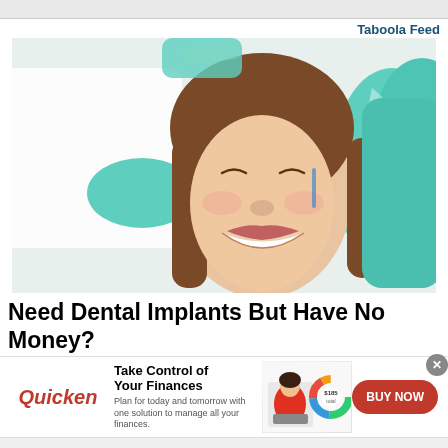Taboola Feed
[Figure (photo): A smiling young woman in a dental chair with a dentist in white coat and teal surgical gloves examining her teeth. The woman has long brown hair and is laughing/smiling broadly. A teal dental chair headrest is visible on the right.]
Need Dental Implants But Have No Money? See Options
[Figure (infographic): Quicken advertisement banner: Quicken logo in red italic text, headline 'Take Control of Your Finances', subtext 'Plan for today and tomorrow with one solution to manage all your finances.', image of woman working on laptop with a donut chart graphic, and a red BUY NOW button.]